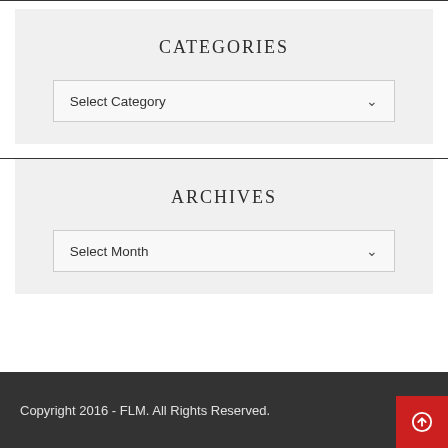CATEGORIES
Select Category
ARCHIVES
Select Month
Copyright 2016 - FLM. All Rights Reserved.